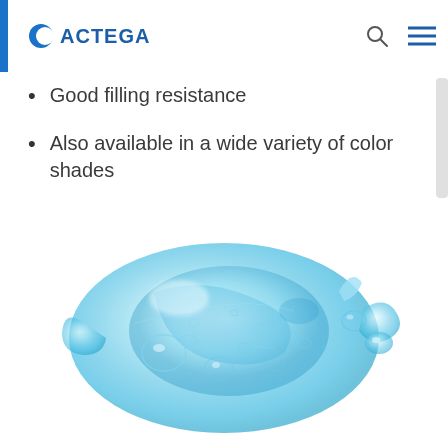ACTEGA
Good filling resistance
Also available in a wide variety of color shades
[Figure (photo): A translucent light blue gel blob or liquid mass photographed against a white background, showing water droplets and bubbles inside.]